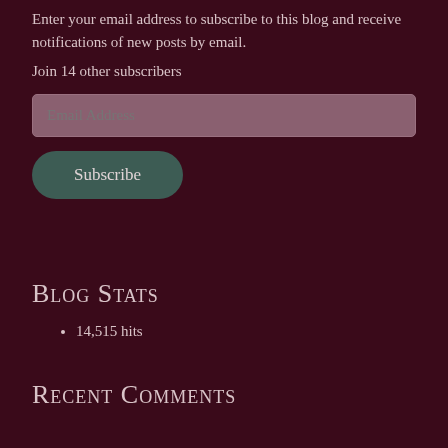Enter your email address to subscribe to this blog and receive notifications of new posts by email.
Join 14 other subscribers
Blog Stats
14,515 hits
Recent Comments